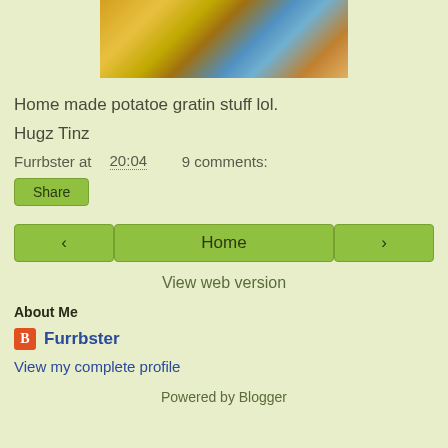[Figure (photo): Close-up photo of home made potato gratin dish, yellow/golden cheesy baked potato with blue plate and orange background visible]
Home made potatoe gratin stuff lol.
Hugz Tinz
Furrbster at 20:04    9 comments:
Share
< Home >
View web version
About Me
Furrbster
View my complete profile
Powered by Blogger